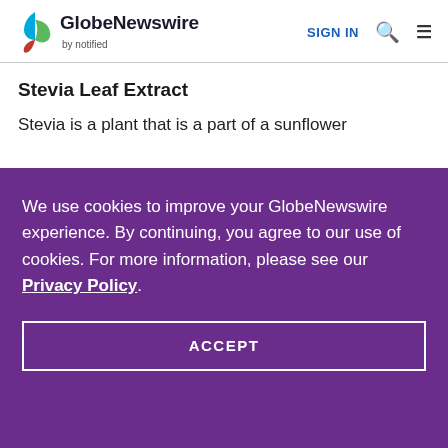GlobeNewswire by notified | SIGN IN
Stevia Leaf Extract
Stevia is a plant that is a part of a sunflower
We use cookies to improve your GlobeNewswire experience. By continuing, you agree to our use of cookies. For more information, please see our Privacy Policy.
ACCEPT